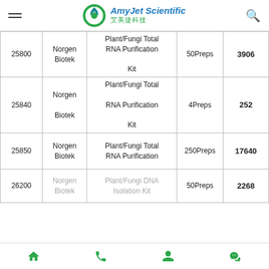AmyJet Scientific 艾美捷科技
| Code | Brand | Product | Size | Price |
| --- | --- | --- | --- | --- |
| 25800 | Norgen Biotek | Plant/Fungi Total RNA Purification Kit | 50Preps | 3906 |
| 25840 | Norgen Biotek | Plant/Fungi Total RNA Purification Kit | 4Preps | 252 |
| 25850 | Norgen Biotek | Plant/Fungi Total RNA Purification | 250Preps | 17640 |
| 26200 | Norgen Biotek | Plant/Fungi DNA Isolation Kit | 50Preps | 2268 |